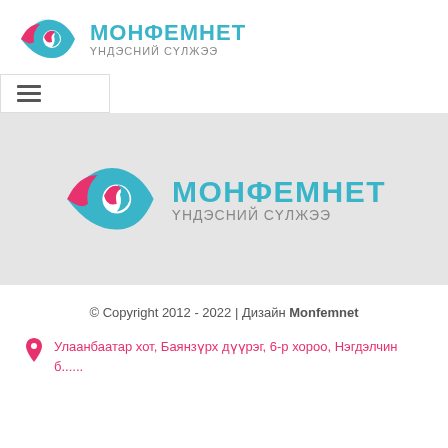[Figure (logo): Monfemnet logo - eye icon with pink and teal swirl, text МОНФЕМНЕТ ҮНДЭСНИЙ СҮЛЖЭЭ]
[Figure (logo): Monfemnet hamburger menu navigation bar]
[Figure (logo): Large Monfemnet logo centered on gray background - eye icon with pink and teal swirl, text МОНФЕМНЕТ ҮНДЭСНИЙ СҮЛЖЭЭ]
© Copyright 2012 - 2022 | Дизайн Monfemnet
Улаанбаатар хот, Баянзүрх дүүрэг, 6-р хороо, Нэгдэлчин б...